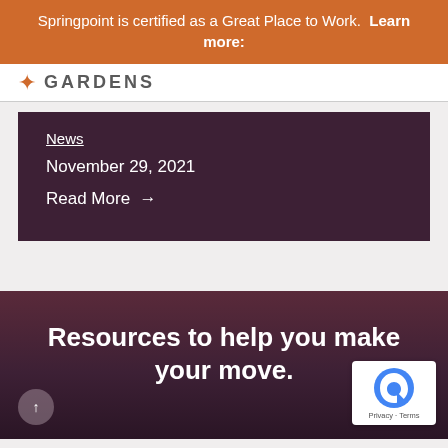Springpoint is certified as a Great Place to Work.  Learn more:
[Figure (logo): Springpoint Gardens logo with orange star icon and bold uppercase text GARDENS]
News
November 29, 2021
Read More →
Resources to help you make your move.